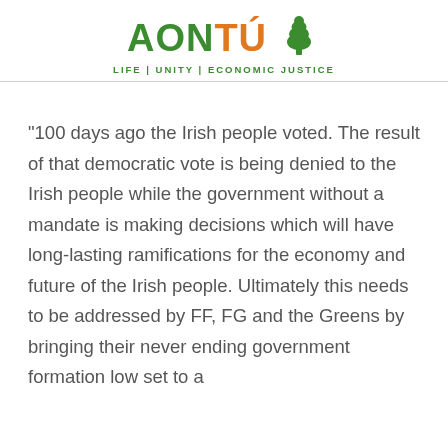[Figure (logo): Aontú party logo with green tree icon and tagline LIFE | UNITY | ECONOMIC JUSTICE]
“100 days ago the Irish people voted. The result of that democratic vote is being denied to the Irish people while the government without a mandate is making decisions which will have long-lasting ramifications for the economy and future of the Irish people. Ultimately this needs to be addressed by FF, FG and the Greens by bringing their never ending government formation low set to a